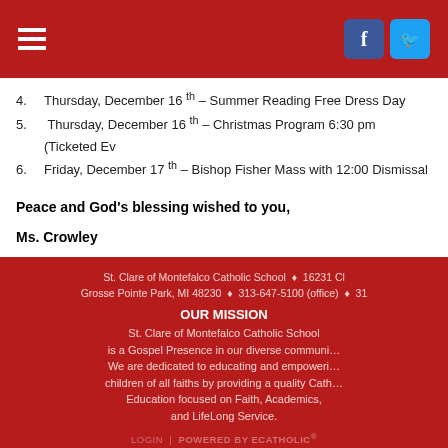Navigation header with hamburger menu and Facebook/Twitter icons
4. Thursday, December 16th – Summer Reading Free Dress Day
5. Thursday, December 16th – Christmas Program 6:30 pm (Ticketed Ev…
6. Friday, December 17th – Bishop Fisher Mass with 12:00 Dismissal
Peace and God's blessing wished to you,
Ms. Crowley
St. Clare of Montefalco Catholic School ♦ 16231 Cl… Grosse Pointe Park, MI 48230 ♦ 313-647-5100 (office) ♦ 31…
OUR MISSION
St. Clare of Montefalco Catholic School is a Gospel Presence in our diverse communi… We are dedicated to educating and empoweri… children of all faiths by providing a quality Cath… Education focused on Faith, Academics, and LifeLong Service.
LOGIN | POWERED BY ECATHOLIC®